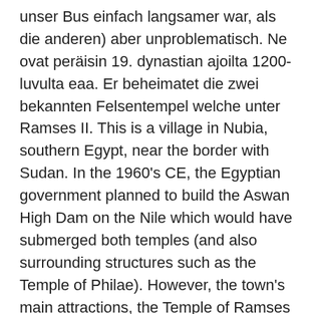unser Bus einfach langsamer war, als die anderen) aber unproblematisch. Ne ovat peräisin 19. dynastian ajoilta 1200-luvulta eaa. Er beheimatet die zwei bekannten Felsentempel welche unter Ramses II. This is a village in Nubia, southern Egypt, near the border with Sudan. In the 1960's CE, the Egyptian government planned to build the Aswan High Dam on the Nile which would have submerged both temples (and also surrounding structures such as the Temple of Philae). However, the town's main attractions, the Temple of Ramses II and Nefertari's Temple of Hathor, were almost lost to the rising waters of Lake Nasser in the 1960s. According to Oakes and Gahlin: Before the work began, a coffer dam had to be built to protect the temples from the rapidly rising water. Todesurteile für Islamisten. Corrections?